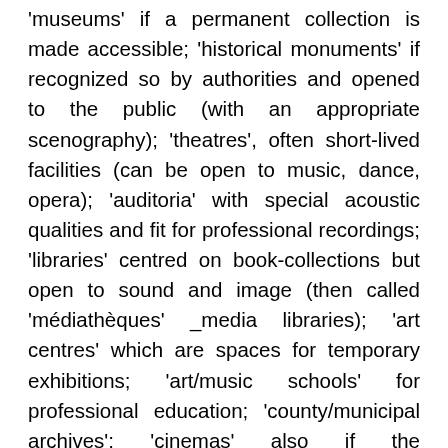'museums' if a permanent collection is made accessible; 'historical monuments' if recognized so by authorities and opened to the public (with an appropriate scenography); 'theatres', often short-lived facilities (can be open to music, dance, opera); 'auditoria' with special acoustic qualities and fit for professional recordings; 'libraries' centred on book-collections but open to sound and image (then called 'médiathèques' _media libraries); 'art centres' which are spaces for temporary exhibitions; 'art/music schools' for professional education; 'county/municipal archives'; 'cinemas' also if the programming is labelled as artistic ('art et essai'). 'Multipurpose cultural facilities' are very diverse (such as cultural centres, and integrated structures which are getting rare) around cross-financing (mainly by the State, Region, County and City). Operating budget is mainly supported by the local level of public authorities (reports from the municipalities accounting 60 to 100% of it).